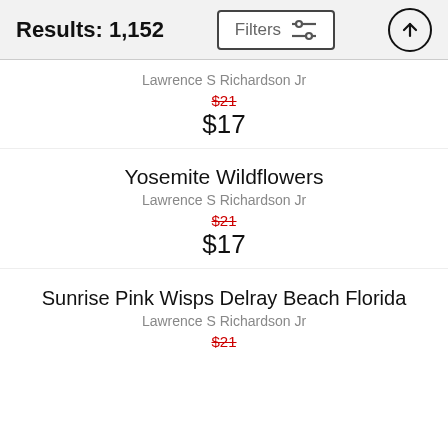Results: 1,152
Lawrence S Richardson Jr
$21 (strikethrough) $17
Yosemite Wildflowers
Lawrence S Richardson Jr
$21 (strikethrough) $17
Sunrise Pink Wisps Delray Beach Florida
Lawrence S Richardson Jr
$21 (strikethrough)